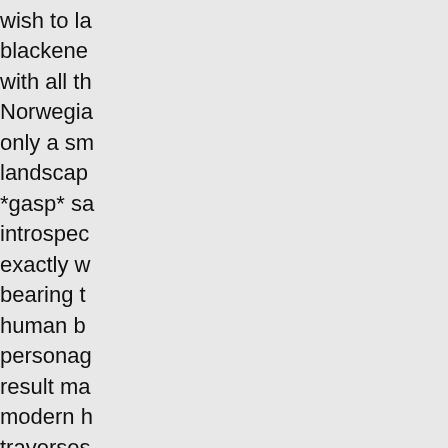wish to la blackene with all th Norwegia only a sm landscap *gasp* sa introspec exactly w bearing t human b personag result ma modern h traverses the while cohesive previous and abso authentic
One liste "Undercu you need and there